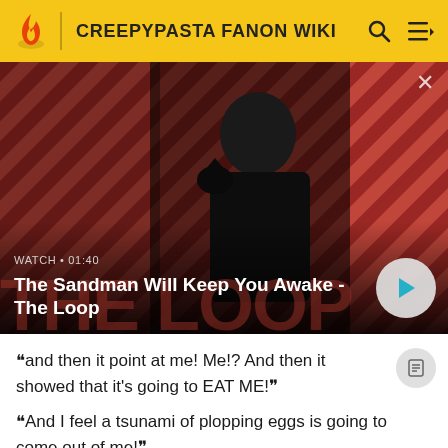CREEPYPASTA FANON WIKI
[Figure (screenshot): Video thumbnail for 'The Sandman Will Keep You Awake - The Loop' showing a pale man in dark clothing with a raven on his shoulder, against a red and dark diagonal striped background. Shows WATCH • 01:40 label and a play button.]
“and then it point at me! Me!? And then it showed that it’s going to EAT ME!”
“And I feel a tsunami of plopping eggs is going to come out of me!”